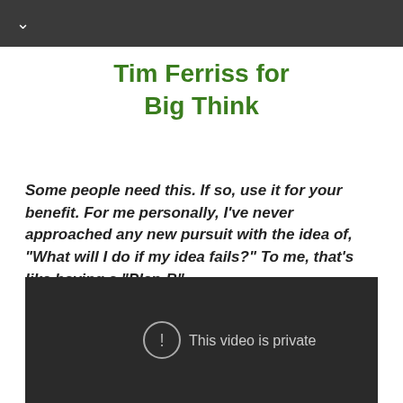Tim Ferriss for Big Think
Some people need this. If so, use it for your benefit. For me personally, I've never approached any new pursuit with the idea of, "What will I do if my idea fails?" To me, that's like having a "Plan-B".
[Figure (screenshot): Video player showing 'This video is private' error message on dark background]